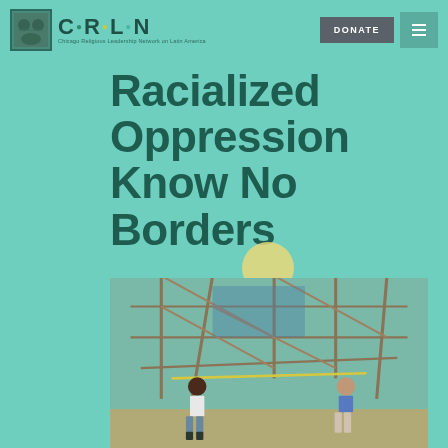[Figure (logo): CRLN logo with icon and text 'Chicago Religious Leadership Network on Latin America']
[Figure (screenshot): DONATE button (dark grey) and hamburger menu button (teal) in navigation bar]
Racialized Oppression Know No Borders
[Figure (photo): Two people working at a construction site with scaffolding and wooden beams, tropical setting]